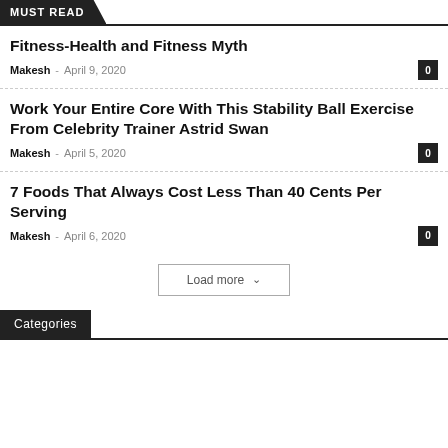MUST READ
Fitness-Health and Fitness Myth
Makesh - April 9, 2020 | 0
Work Your Entire Core With This Stability Ball Exercise From Celebrity Trainer Astrid Swan
Makesh - April 5, 2020 | 0
7 Foods That Always Cost Less Than 40 Cents Per Serving
Makesh - April 6, 2020 | 0
Load more
Categories